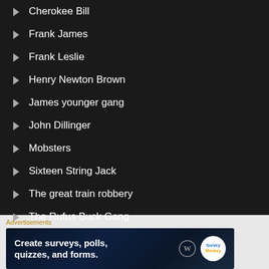Cherokee Bill
Frank James
Frank Leslie
Henry Newton Brown
James younger gang
John Dillinger
Mobsters
Sixteen String Jack
The great train robbery
The Rufus Buck Gang
Advertisements
[Figure (screenshot): Advertisement banner: Create surveys, polls, quizzes, and forms. WordPress and SurveyMonk logos.]